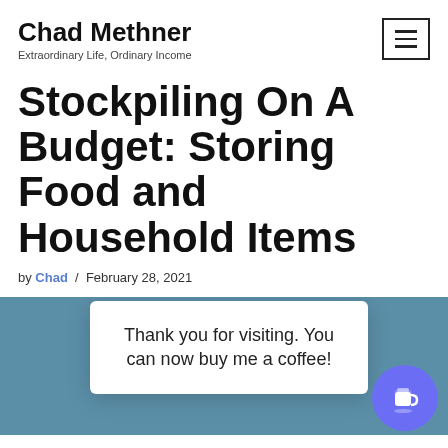Chad Methner
Extraordinary Life, Ordinary Income
Stockpiling On A Budget: Storing Food and Household Items
by Chad / February 28, 2021
[Figure (infographic): Blog article header image with teal/blue background, a white popup card reading 'Thank you for visiting. You can now buy me a coffee!' and a purple circular coffee cup button on the right.]